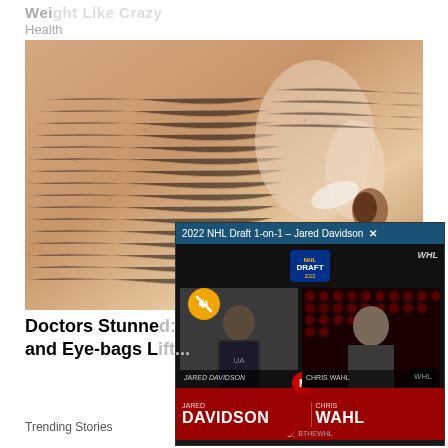Weight Like Crazy
Health
[Figure (photo): Close-up photo of aged skin texture showing wrinkles and fine lines around nose area]
[Figure (screenshot): Video overlay: '2022 NHL Draft 1-on-1 – Jared Davidson' with two video panels showing interviewees labeled DAVIDSON and WAHL]
Doctors Stunne... and Eye-bags L...
Trending Stories